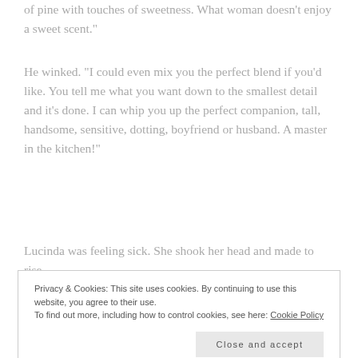of pine with touches of sweetness. What woman doesn't enjoy a sweet scent."
He winked. "I could even mix you the perfect blend if you'd like. You tell me what you want down to the smallest detail and it's done. I can whip you up the perfect companion, tall, handsome, sensitive, dotting, boyfriend or husband. A master in the kitchen!"
Lucinda was feeling sick. She shook her head and made to rise.
Privacy & Cookies: This site uses cookies. By continuing to use this website, you agree to their use.
To find out more, including how to control cookies, see here: Cookie Policy
Close and accept